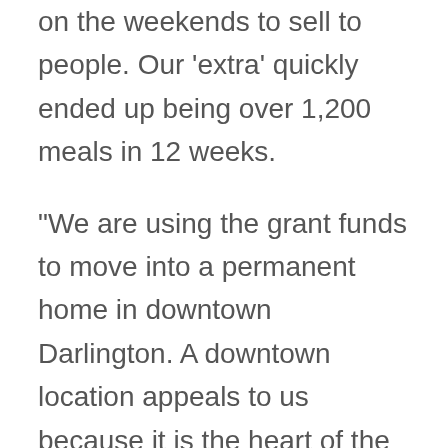on the weekends to sell to people. Our 'extra' quickly ended up being over 1,200 meals in 12 weeks.
“We are using the grant funds to move into a permanent home in downtown Darlington. A downtown location appeals to us because it is the heart of the community. We want to see our customers each day, provide daily options and make our mission a reality: nutritious, convenient meals for everyone.
“Looking back, we wish we would have